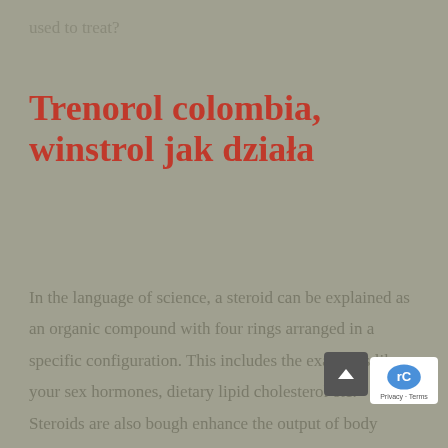used to treat?
Trenorol colombia, winstrol jak działa
In the language of science, a steroid can be explained as an organic compound with four rings arranged in a specific configuration. This includes the examples like your sex hormones, dietary lipid cholesterol etc. Steroids are also bough enhance the output of body building and to gain a